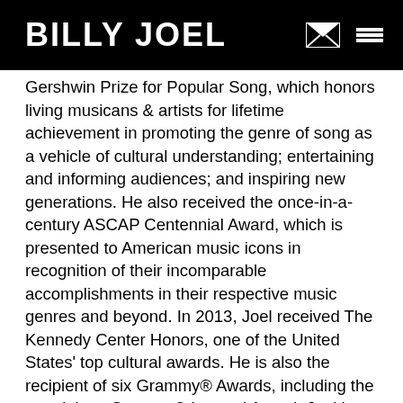BILLY JOEL
Gershwin Prize for Popular Song, which honors living musicans & artists for lifetime achievement in promoting the genre of song as a vehicle of cultural understanding; entertaining and informing audiences; and inspiring new generations. He also received the once-in-a-century ASCAP Centennial Award, which is presented to American music icons in recognition of their incomparable accomplishments in their respective music genres and beyond. In 2013, Joel received The Kennedy Center Honors, one of the United States' top cultural awards. He is also the recipient of six Grammy® Awards, including the prestigious Grammy® Legend Award. Joel has been inducted into the Songwriter's Hall of Fame and the Rock and Roll Hall of Fame and has received numerous industry awards.
“Movin’ Out,” a Broadway musical based on Joel’s music choreographed and directed by Twyla Tharp